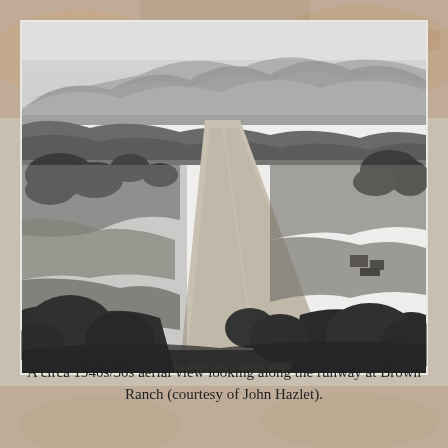[Figure (photo): A black-and-white aerial photograph from circa 1940s/50s showing a runway at Brown Ranch, with mountains in the background, trees and fields visible from above.]
A circa 1940s/50s aerial view looking along the runway at Brown Ranch (courtesy of John Hazlet).